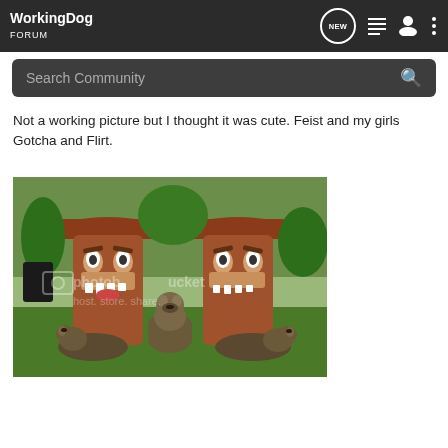WorkingDog FORUM
Search Community
Not a working picture but I thought it was cute. Feist and my girls Gotcha and Flirt.
[Figure (photo): Three dogs lying and sitting on grass in front of two large decorative tiki statues with tropical plants in the background. A photobucket watermark is visible.]